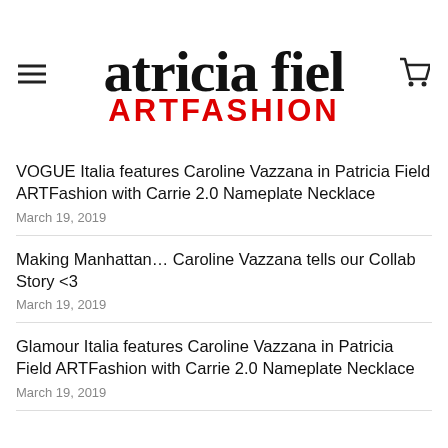[Figure (logo): Patricia Field ART FASHION logo with handwritten script 'patricia field' in black and bold red text 'ARTFASHION' below]
VOGUE Italia features Caroline Vazzana in Patricia Field ARTFashion with Carrie 2.0 Nameplate Necklace
March 19, 2019
Making Manhattan… Caroline Vazzana tells our Collab Story <3
March 19, 2019
Glamour Italia features Caroline Vazzana in Patricia Field ARTFashion with Carrie 2.0 Nameplate Necklace
March 19, 2019